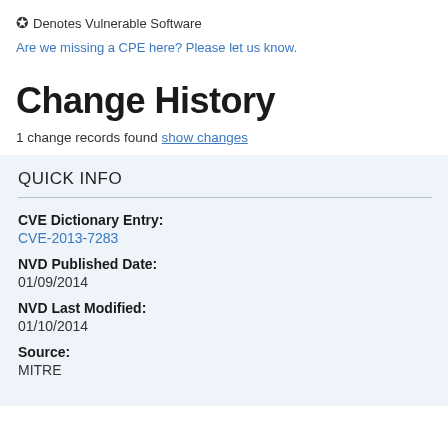✪ Denotes Vulnerable Software
Are we missing a CPE here? Please let us know.
Change History
1 change records found show changes
QUICK INFO
CVE Dictionary Entry:
CVE-2013-7283
NVD Published Date:
01/09/2014
NVD Last Modified:
01/10/2014
Source:
MITRE